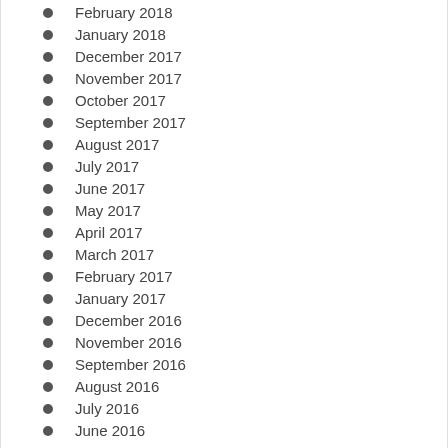February 2018
January 2018
December 2017
November 2017
October 2017
September 2017
August 2017
July 2017
June 2017
May 2017
April 2017
March 2017
February 2017
January 2017
December 2016
November 2016
September 2016
August 2016
July 2016
June 2016